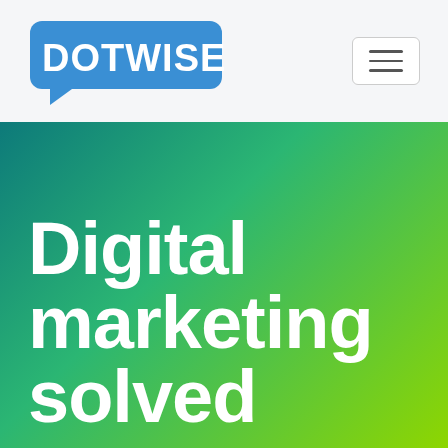[Figure (logo): DOTWISE logo — white bold text on blue speech-bubble-shaped background]
[Figure (other): Hamburger menu icon button with three horizontal lines inside a rounded rectangle]
Digital marketing solved